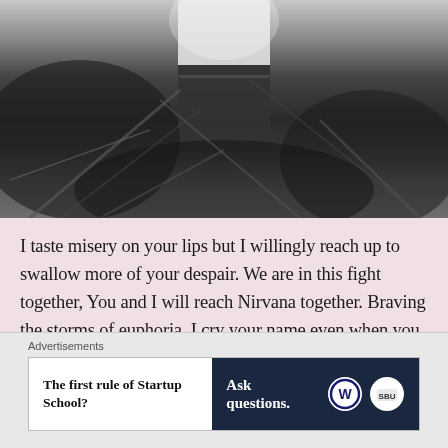[Figure (photo): Black and white photograph of a person standing in a dense brushy outdoor area, visible from waist down wearing white shirt and dark pants]
I taste misery on your lips but I willingly reach up to swallow more of your despair. We are in this fight together, You and I will reach Nirvana together. Braving the storms of euphoria, I cry your name even when you shun me away. I cling to you even as we tear each other [...]
Advertisements
[Figure (screenshot): Advertisement banner: left side white background with bold text 'The first rule of Startup School?', right side dark navy background with 'Ask questions.' text and WordPress and another logo]